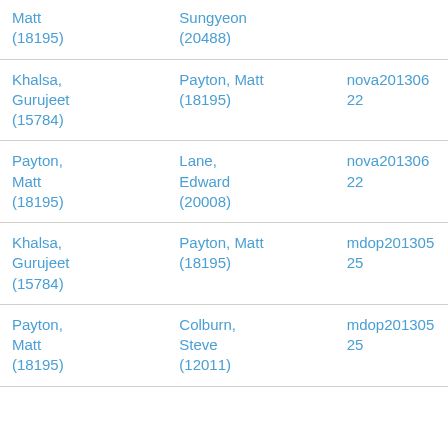| Matt
(18195) | Sungyeon
(20488) |  |
| Khalsa,
Gurujeet
(15784) | Payton, Matt
(18195) | nova20130622 |
| Payton,
Matt
(18195) | Lane,
Edward
(20008) | nova20130622 |
| Khalsa,
Gurujeet
(15784) | Payton, Matt
(18195) | mdop20130525 |
| Payton,
Matt
(18195) | Colburn,
Steve
(12011) | mdop20130525 |